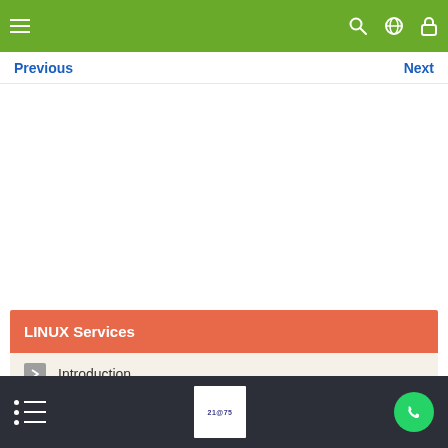Navigation bar with hamburger menu, search, globe and lock icons
Previous    Next
LINUX Services
Introduction
RunLevels
Starting Services
Bottom navigation bar with list icon, logo, and WhatsApp icon